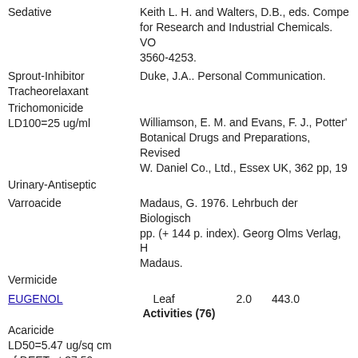Sedative
Keith L. H. and Walters, D.B., eds. Compe... for Research and Industrial Chemicals. VO... 3560-4253.
Sprout-Inhibitor
Duke, J.A.. Personal Communication.
Tracheorelaxant
Trichomonicide LD100=25 ug/ml
Williamson, E. M. and Evans, F. J., Potter's Botanical Drugs and Preparations, Revised... W. Daniel Co., Ltd., Essex UK, 362 pp, 19...
Urinary-Antiseptic
Varroacide
Madaus, G. 1976. Lehrbuch der Biologisch... pp. (+ 144 p. index). Georg Olms Verlag, H... Madaus.
Vermicide
EUGENOL   Leaf   2.0   443.0
Activities (76)
Acaricide LD50=5.47 ug/sq cm cf DEET at 37.59 ug/sq cm
Allergenic
Analgesic
Merck 11th Edition
Anesthetic 300-400
Phytotherapy Research, 4, 93...